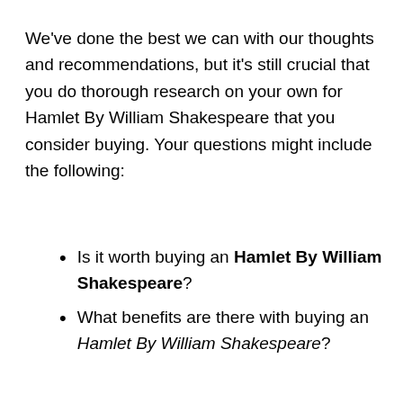We've done the best we can with our thoughts and recommendations, but it's still crucial that you do thorough research on your own for Hamlet By William Shakespeare that you consider buying. Your questions might include the following:
Is it worth buying an Hamlet By William Shakespeare?
What benefits are there with buying an Hamlet By William Shakespeare?